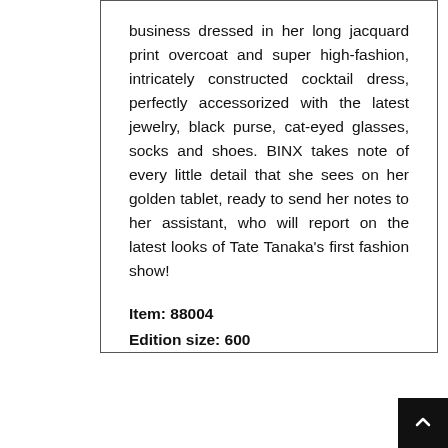business dressed in her long jacquard print overcoat and super high-fashion, intricately constructed cocktail dress, perfectly accessorized with the latest jewelry, black purse, cat-eyed glasses, socks and shoes. BINX takes note of every little detail that she sees on her golden tablet, ready to send her notes to her assistant, who will report on the latest looks of Tate Tanaka's first fashion show!
Item: 88004
Edition size: 600